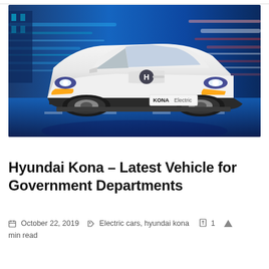[Figure (photo): Hyundai Kona Electric white SUV driving on a road with blue motion-blur background and KONA Electric badge on the front]
EV News
Hyundai Kona – Latest Vehicle for Government Departments
October 22, 2019   Electric cars, hyundai kona   1 min read